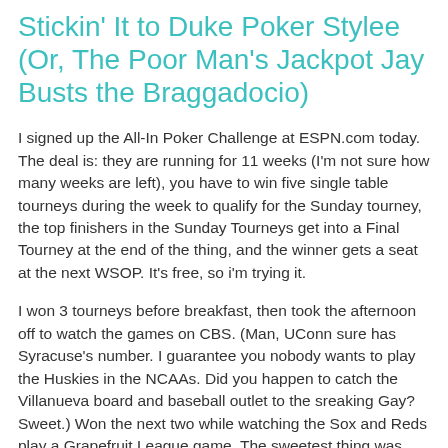Stickin' It to Duke Poker Stylee (Or, The Poor Man's Jackpot Jay Busts the Braggadocio)
I signed up the All-In Poker Challenge at ESPN.com today. The deal is: they are running for 11 weeks (I'm not sure how many weeks are left), you have to win five single table tourneys during the week to qualify for the Sunday tourney, the top finishers in the Sunday Tourneys get into a Final Tourney at the end of the thing, and the winner gets a seat at the next WSOP. It's free, so i'm trying it.
I won 3 tourneys before breakfast, then took the afternoon off to watch the games on CBS. (Man, UConn sure has Syracuse's number. I guarantee you nobody wants to play the Huskies in the NCAAs. Did you happen to catch the Villanueva board and baseball outlet to the sreaking Gay? Sweet.) Won the next two while watching the Sox and Reds play a Grapefruit League game. The sweetest thing was winning the fifth tourney heads up against a guy with 'dukeblue' for a screen name. I stole a big pot with deuce-